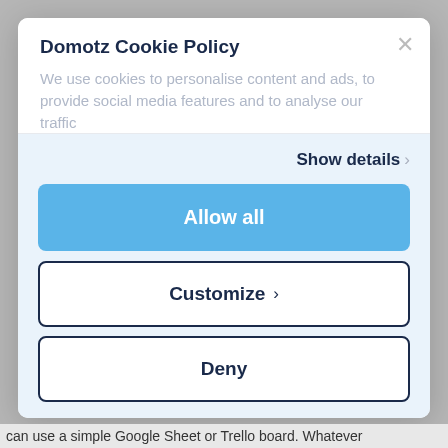Domotz Cookie Policy
We use cookies to personalise content and ads, to provide social media features and to analyse our traffic
Show details ›
Allow all
Customize ›
Deny
can use a simple Google Sheet or Trello board. Whatever